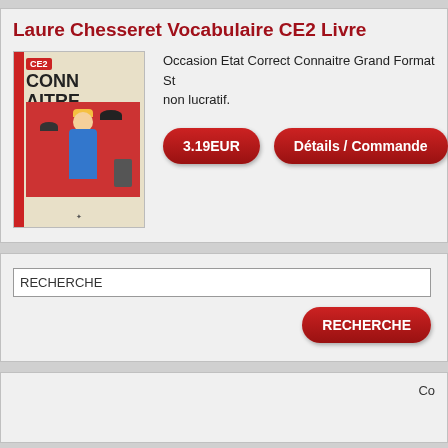Laure Chesseret Vocabulaire CE2 Livre
[Figure (illustration): Book cover for CONNAITRE CE2 with red background illustration showing a boy and various figures]
Occasion Etat Correct Connaitre Grand Format St non lucratif.
3.19EUR
Détails / Commande
RECHERCHE
RECHERCHE
Co